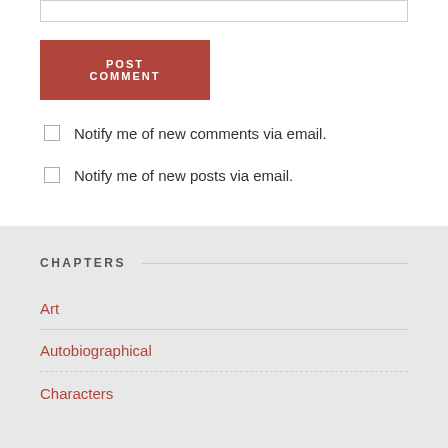[input box]
POST COMMENT
Notify me of new comments via email.
Notify me of new posts via email.
CHAPTERS
Art
Autobiographical
Characters